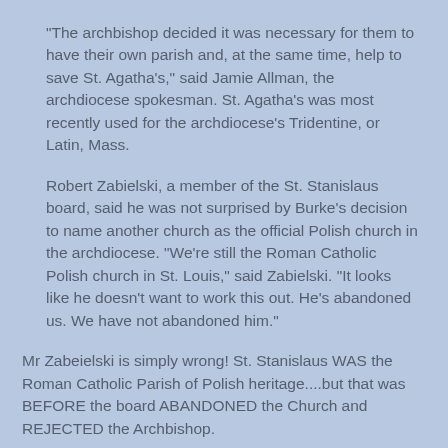"The archbishop decided it was necessary for them to have their own parish and, at the same time, help to save St. Agatha's," said Jamie Allman, the archdiocese spokesman. St. Agatha's was most recently used for the archdiocese's Tridentine, or Latin, Mass.
Robert Zabielski, a member of the St. Stanislaus board, said he was not surprised by Burke's decision to name another church as the official Polish church in the archdiocese. "We're still the Roman Catholic Polish church in St. Louis," said Zabielski. "It looks like he doesn't want to work this out. He's abandoned us. We have not abandoned him."
Mr Zabeielski is simply wrong! St. Stanislaus WAS the Roman Catholic Parish of Polish heritage....but that was BEFORE the board ABANDONED the Church and REJECTED the Archbishop.